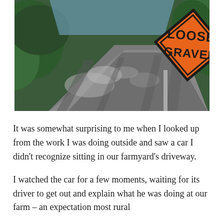[Figure (photo): A gravel road with sunlight and shadows, next to an orange diamond-shaped road sign reading 'LOOSE GRAVEL' in black text, surrounded by green foliage.]
It was somewhat surprising to me when I looked up from the work I was doing outside and saw a car I didn't recognize sitting in our farmyard's driveway.
I watched the car for a few moments, waiting for its driver to get out and explain what he was doing at our farm – an expectation most rural